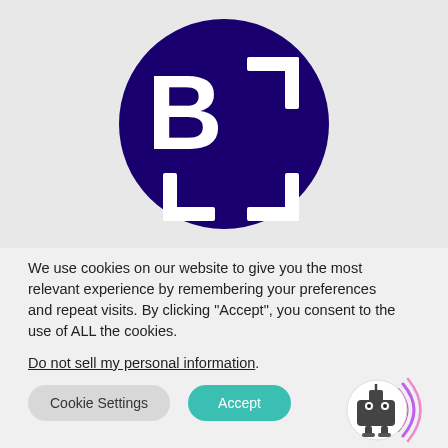[Figure (logo): Dark navy blue circular logo with white letter B on the left and white bracket/corner marks forming a square frame on the right and bottom, resembling a document scanning icon]
We use cookies on our website to give you the most relevant experience by remembering your preferences and repeat visits. By clicking "Accept", you consent to the use of ALL the cookies.
Do not sell my personal information.
[Figure (illustration): Small circular robot/chatbot icon with purple and pink arc signals around it]